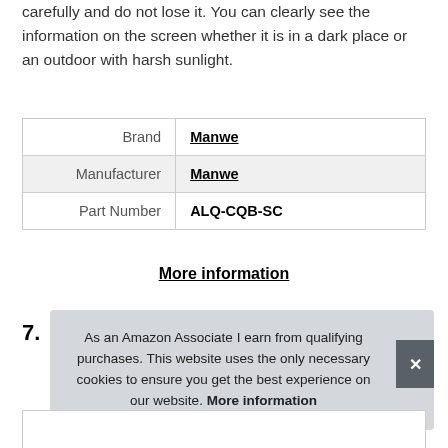carefully and do not lose it. You can clearly see the information on the screen whether it is in a dark place or an outdoor with harsh sunlight.
| Brand | Manwe |
| Manufacturer | Manwe |
| Part Number | ALQ-CQB-SC |
More information
7.
As an Amazon Associate I earn from qualifying purchases. This website uses the only necessary cookies to ensure you get the best experience on our website. More information